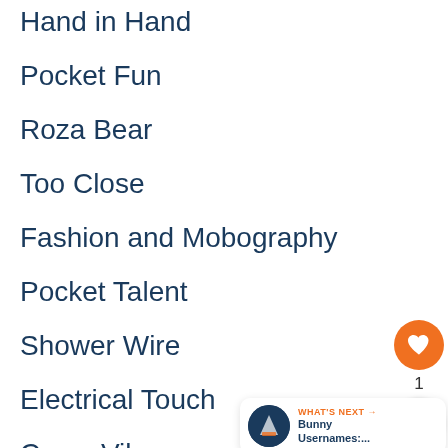Hand in Hand
Pocket Fun
Roza Bear
Too Close
Fashion and Mobography
Pocket Talent
Shower Wire
Electrical Touch
Crazy Vibe
[Figure (infographic): Orange circular heart/like button with heart icon, count '1' below, and a share button (circular white with share icon). A 'What's Next' banner showing a small circular image and text 'Bunny Usernames:...']